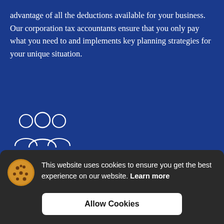advantage of all the deductions available for your business. Our corporation tax accountants ensure that you only pay what you need to and implements key planning strategies for your unique situation.
[Figure (illustration): White line-art icon of three people (group/team) on a blue background]
PAYROLL SERVICES
Our payroll service for South London businesses can help you with the ever-changing payroll regulations and the
This website uses cookies to ensure you get the best experience on our website. Learn more
Allow Cookies